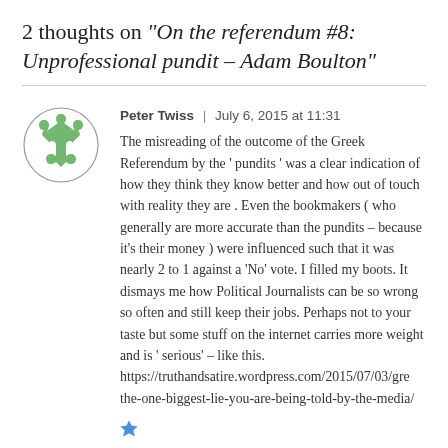2 thoughts on “On the referendum #8: Unprofessional pundit – Adam Boulton”
Peter Twiss | July 6, 2015 at 11:31
The misreading of the outcome of the Greek Referendum by the ‘ pundits ‘ was a clear indication of how they think they know better and how out of touch with reality they are . Even the bookmakers ( who generally are more accurate than the pundits – because it’s their money ) were influenced such that it was nearly 2 to 1 against a ‘No’ vote. I filled my boots. It dismays me how Political Journalists can be so wrong so often and still keep their jobs. Perhaps not to your taste but some stuff on the internet carries more weight and is ‘ serious’ – like this. https://truthandsatire.wordpress.com/2015/07/03/gre the-one-biggest-lie-you-are-being-told-by-the-media/